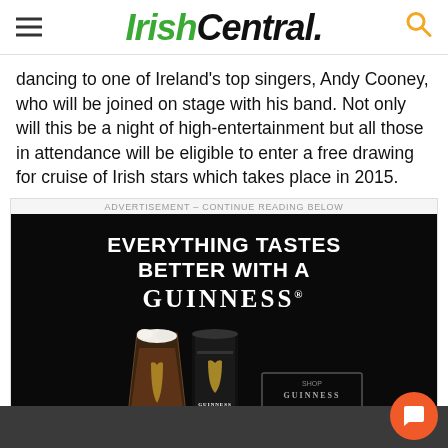IrishCentral.
dancing to one of Ireland's top singers, Andy Cooney, who will be joined on stage with his band. Not only will this be a night of high-entertainment but all those in attendance will be eligible to enter a free drawing for cruise of Irish stars which takes place in 2015.
[Figure (advertisement): Guinness advertisement with text 'EVERYTHING TASTES BETTER WITH A GUINNESS' and images of a Guinness pint glass and can on a black background.]